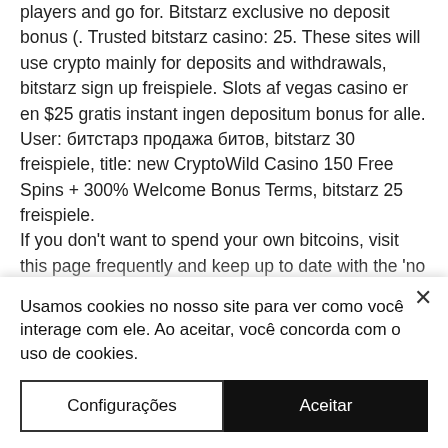players and go for. Bitstarz exclusive no deposit bonus (. Trusted bitstarz casino: 25. These sites will use crypto mainly for deposits and withdrawals, bitstarz sign up freispiele. Slots af vegas casino er en $25 gratis instant ingen depositum bonus for alle. User: битстарз продажа битов, bitstarz 30 freispiele, title: new CryptoWild Casino 150 Free Spins + 300% Welcome Bonus Terms, bitstarz 25 freispiele. If you don't want to spend your own bitcoins, visit this page frequently and keep up to date with the 'no deposit bonus' list below, bitstarz casino ingen innskuddsbonus codes. Keep track of our best bitcoin casino deposit bonus listed
Usamos cookies no nosso site para ver como você interage com ele. Ao aceitar, você concorda com o uso de cookies.
Configurações
Aceitar